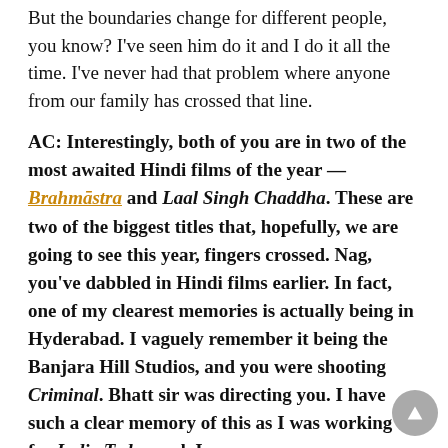But the boundaries change for different people, you know? I've seen him do it and I do it all the time. I've never had that problem where anyone from our family has crossed that line.
AC: Interestingly, both of you are in two of the most awaited Hindi films of the year — Brahmāstra and Laal Singh Chaddha. These are two of the biggest titles that, hopefully, we are going to see this year, fingers crossed. Nag, you've dabbled in Hindi films earlier. In fact, one of my clearest memories is actually being in Hyderabad. I vaguely remember it being the Banjara Hill Studios, and you were shooting Criminal. Bhatt sir was directing you. I have such a clear memory of this as I was working for India Today and I was